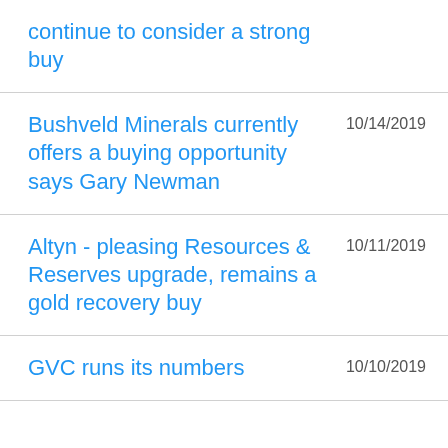continue to consider a strong buy
Bushveld Minerals currently offers a buying opportunity says Gary Newman
Altyn - pleasing Resources & Reserves upgrade, remains a gold recovery buy
GVC runs its numbers...